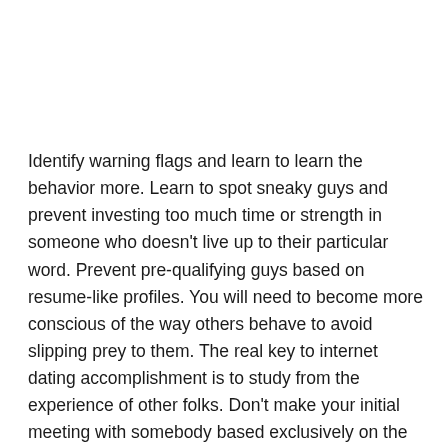Identify warning flags and learn to learn the behavior more. Learn to spot sneaky guys and prevent investing too much time or strength in someone who doesn't live up to their particular word. Prevent pre-qualifying guys based on resume-like profiles. You will need to become more conscious of the way others behave to avoid slipping prey to them. The real key to internet dating accomplishment is to study from the experience of other folks. Don't make your initial meeting with somebody based exclusively on the appearance of his profile.
Be aware that denial is a truth of lifestyle with online dating sites. It is possible to get turned down more than in person, however the odds of that happening are slender. This is particularly true for the ways that...